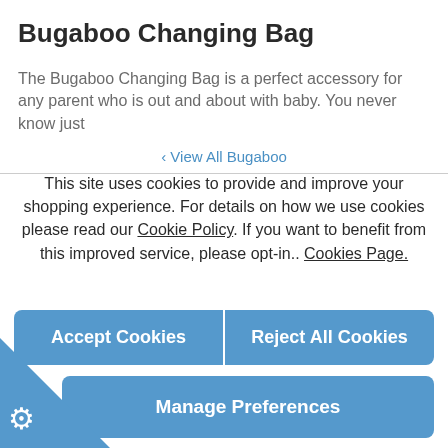Bugaboo Changing Bag
The Bugaboo Changing Bag is a perfect accessory for any parent who is out and about with baby. You never know just
‹ View All Bugaboo
This site uses cookies to provide and improve your shopping experience. For details on how we use cookies please read our Cookie Policy. If you want to benefit from this improved service, please opt-in.. Cookies Page.
Accept Cookies
Reject All Cookies
Manage Preferences